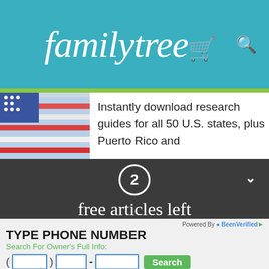familytree
[Figure (screenshot): American flag image partial view on left side]
Instantly download research guides for all 50 U.S. states, plus Puerto Rico and
2 free articles left this month
Don't miss the future.
[Figure (infographic): Advertisement: TYPE PHONE NUMBER - Search For Owner's Full Info with phone input fields and Search button, Powered by BeenVerified]